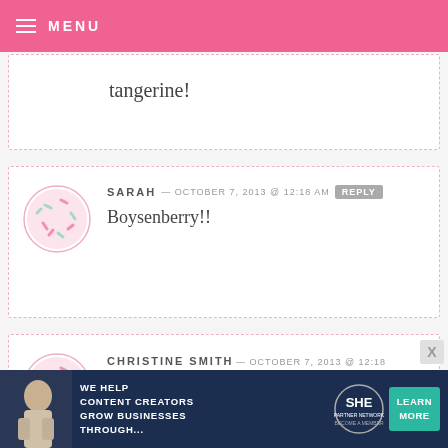MENU
tangerine!
SARAH — OCTOBER 7, 2013 @ 12:18 AM  REPLY
Boysenberry!!
CHRISTINE SMITH — OCTOBER 7, 2013 @ 12:18 AM  REPLY
Boysenberry. I am planning to make Halloween treats, including some
[Figure (infographic): Advertisement banner: WE HELP CONTENT CREATORS GROW BUSINESSES THROUGH... SHE PARTNER NETWORK BECOME A MEMBER. LEARN MORE button.]